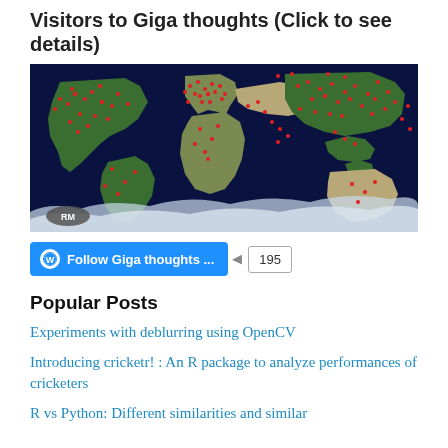Visitors to Giga thoughts (Click to see details)
[Figure (map): World map with red dots indicating visitor locations for Giga thoughts blog. Dark blue ocean background with green landmasses. Hundreds of red dots distributed globally, concentrated in Europe, North America, and Asia. 'RM' watermark badge in bottom-left corner.]
[Figure (other): Follow Giga thoughts ... button (blue WordPress style button with WordPress icon) and a count badge showing 195]
Popular Posts
Experiments with deblurring using OpenCV
Introducing cricketr! : An R package to analyze performances of cricketers
R vs Python: Different similarities and similar